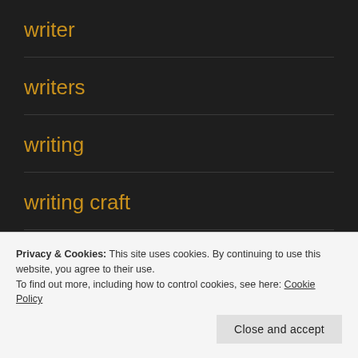writer
writers
writing
writing craft
writing craft (partial, clipped)
Privacy & Cookies: This site uses cookies. By continuing to use this website, you agree to their use.
To find out more, including how to control cookies, see here: Cookie Policy
Close and accept